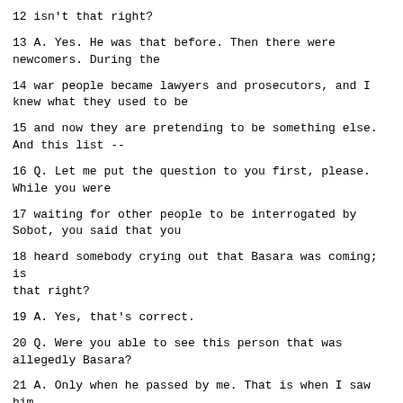12 isn't that right?
13 A. Yes. He was that before. Then there were newcomers. During the
14 war people became lawyers and prosecutors, and I knew what they used to be
15 and now they are pretending to be something else. And this list --
16 Q. Let me put the question to you first, please. While you were
17 waiting for other people to be interrogated by Sobot, you said that you
18 heard somebody crying out that Basara was coming; is that right?
19 A. Yes, that's correct.
20 Q. Were you able to see this person that was allegedly Basara?
21 A. Only when he passed by me. That is when I saw him for the first
22 time, and I saw that they were running upstairs and saying, "Here comes